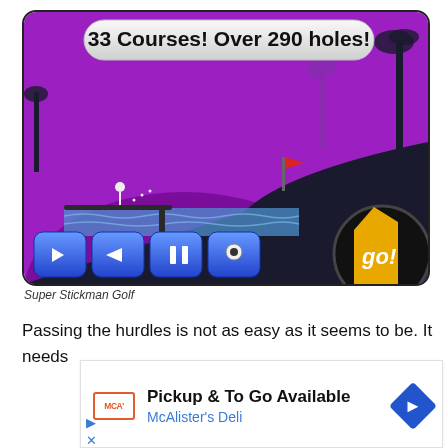[Figure (screenshot): Screenshot of Super Stickman Golf mobile game showing a purple golf course scene with a banner reading '33 Courses! Over 290 holes!', game controls at the bottom including left/right arrows, pause button, and a 'go!' button.]
Super Stickman Golf
Passing the hurdles is not as easy as it seems to be. It needs
[Figure (screenshot): Advertisement for McAlister's Deli showing 'Pickup & To Go Available' with McAlister's Deli branding and a blue navigation arrow icon.]